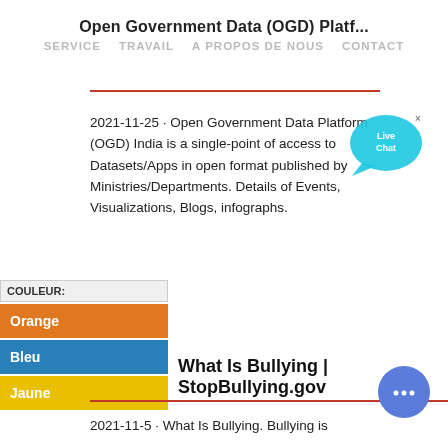Open Government Data (OGD) Platf...
SERVICE   TRAVAIL   A PROPOS DE NOUS   CONTACT
2021-11-25 · Open Government Data Platform (OGD) India is a single-point of access to Datasets/Apps in open format published by Ministries/Departments. Details of Events, Visualizations, Blogs, infographs.
[Figure (illustration): Live Chat speech bubble widget in cyan/teal color with 'Live Chat' text and an X close button]
COULEUR:
Orange
Bleu
Jaune
What Is Bullying | StopBullying.gov
[Figure (illustration): Blue circular chat/message button with ellipsis (...)]
2021-11-5 · What Is Bullying. Bullying is